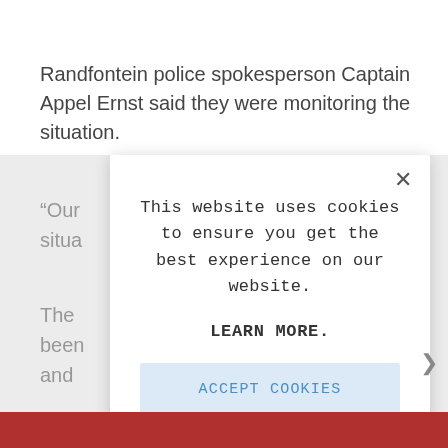Randfontein police spokesperson Captain Appel Ernst said they were monitoring the situation.
“Our [situation]
The [been] [and]
[Figure (screenshot): Cookie consent modal dialog overlaying a news article. The modal contains the text 'This website uses cookies to ensure you get the best experience on our website.' followed by a bold 'LEARN MORE.' link and an 'ACCEPT COOKIES' button in light blue. A close (X) button is in the top right of the modal. The background shows partially obscured article text and a red banner at the bottom.]